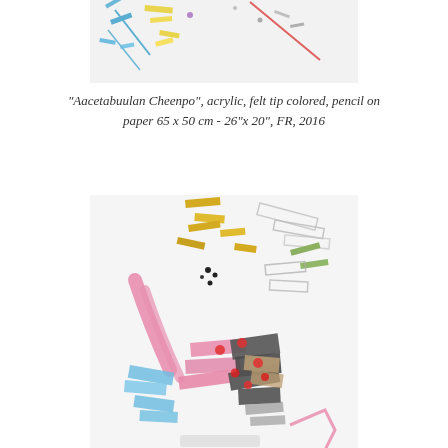[Figure (photo): Top portion of an abstract artwork showing colorful overlapping geometric shapes and lines (blue, yellow, pink) on a white/light background — partial view cropped at top]
"Aacetabuulan Cheenpo", acrylic, felt tip colored, pencil on paper 65 x 50 cm - 26"x 20", FR, 2016
[Figure (photo): Abstract artwork featuring colorful overlapping geometric shapes, bars, and lines in pink, yellow, blue, gray, and red on a white background — dynamic composition with scattered elements]